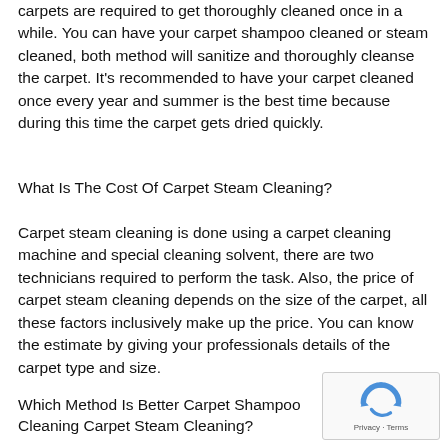carpets are required to get thoroughly cleaned once in a while. You can have your carpet shampoo cleaned or steam cleaned, both method will sanitize and thoroughly cleanse the carpet. It's recommended to have your carpet cleaned once every year and summer is the best time because during this time the carpet gets dried quickly.
What Is The Cost Of Carpet Steam Cleaning?
Carpet steam cleaning is done using a carpet cleaning machine and special cleaning solvent, there are two technicians required to perform the task. Also, the price of carpet steam cleaning depends on the size of the carpet, all these factors inclusively make up the price. You can know the estimate by giving your professionals details of the carpet type and size.
Which Method Is Better Carpet Shampoo Cleaning Carpet Steam Cleaning?